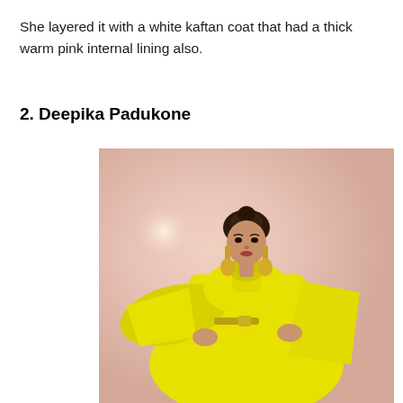She layered it with a white kaftan coat that had a thick warm pink internal lining also.
2. Deepika Padukone
[Figure (photo): Deepika Padukone in a bright yellow flowing kaftan/saree with large statement earrings, posing with hands on hips against a soft pink background.]